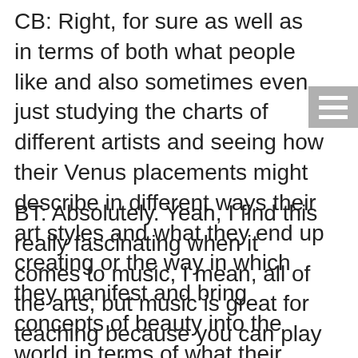CB: Right, for sure as well as in terms of both what people like and also sometimes even just studying the charts of different artists and seeing how their Venus placements might describe in different ways their art styles and what they end up creating or the way in which they manifest and bring concepts of beauty into the world in terms of what their subjective conceptualization of beauty is.
BT: Absolutely. Yeah, I find this really fascinating when it comes to music, I mean, all of the arts, but music is great for teaching because you can play a song and someone can immediately get an archetypal essence. And there are so many extraordinary songs about heartbreak and